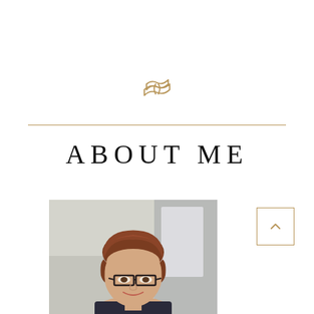[Figure (logo): Gold/tan colored logo icon resembling stacked books or mortarboard hat outline]
ABOUT ME
[Figure (photo): Portrait photo of a woman with short reddish-brown hair wearing glasses and smiling, shown from shoulders up against a blurred light background]
[Figure (other): Gold outlined square with an upward-pointing chevron/caret arrow inside, serving as a navigation button]